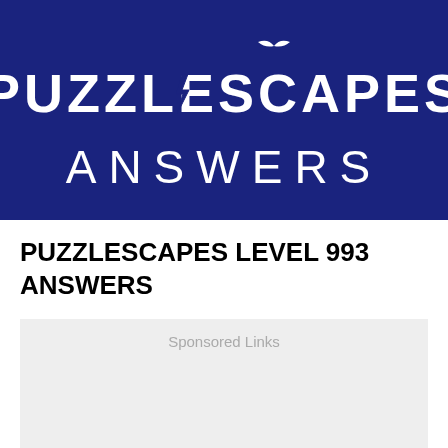[Figure (logo): Puzzlescapes Answers logo — dark navy blue banner with white uppercase text PUZZLESCAPES and ANSWERS, with a lightning bolt in the Z and a bird silhouette above the C]
PUZZLESCAPES LEVEL 993 ANSWERS
Sponsored Links